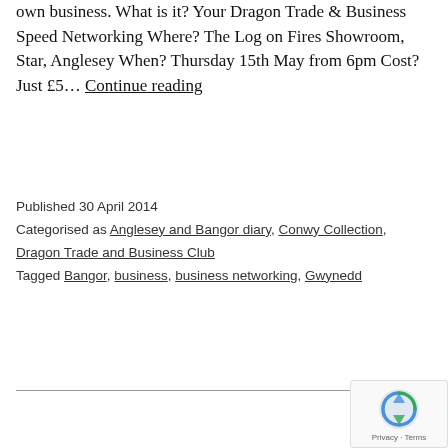own business. What is it? Your Dragon Trade & Business Speed Networking Where? The Log on Fires Showroom, Star, Anglesey When? Thursday 15th May from 6pm Cost? Just £5… Continue reading
Published 30 April 2014
Categorised as Anglesey and Bangor diary, Conwy Collection, Dragon Trade and Business Club
Tagged Bangor, business, business networking, Gwynedd